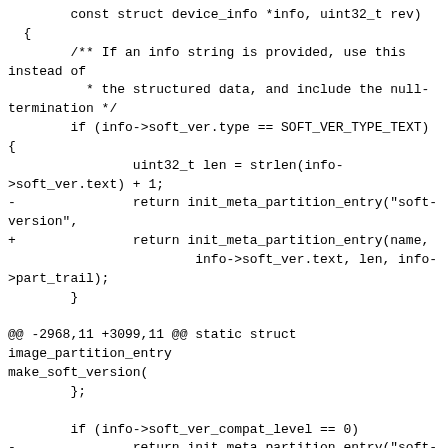const struct device_info *info, uint32_t rev)
  {
        /** If an info string is provided, use this instead of
          * the structured data, and include the null-termination */
        if (info->soft_ver.type == SOFT_VER_TYPE_TEXT)
{
                uint32_t len = strlen(info->soft_ver.text) + 1;
-               return init_meta_partition_entry("soft-version",
+               return init_meta_partition_entry(name,
                        info->soft_ver.text, len, info->part_trail);
        }

@@ -2968,11 +3099,11 @@ static struct image_partition_entry make_soft_version(
        };

        if (info->soft_ver_compat_level == 0)
-               return init_meta_partition_entry("soft-version", &s,
+               return init_meta_partition_entry(name,
&s,
                        (uint8_t *)(&s.compat_level) - (uint8_t *)(&s),
                        info->part_trail);